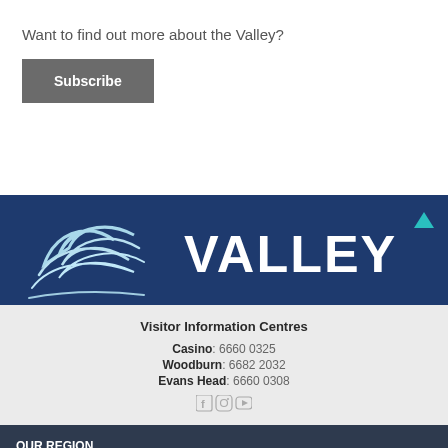Want to find out more about the Valley?
Subscribe
[Figure (logo): Clarence Valley logo with wave graphic and VALLEY text on dark blue background]
Visitor Information Centres
Casino: 6660 0325
Woodburn: 6682 2032
Evans Head: 6660 0308
OUR REGION
Casino
Evans Head
Broadwater & Rileys Hill